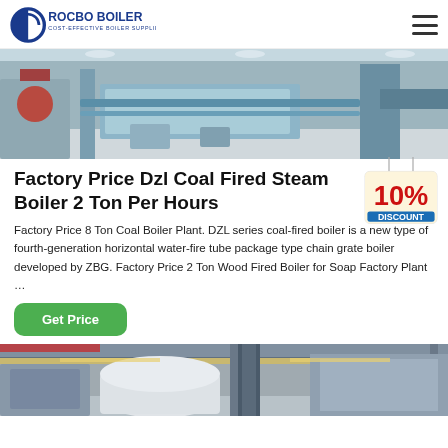ROCBO BOILER – COST-EFFECTIVE BOILER SUPPLIER
[Figure (photo): Industrial boiler production line with machinery and blue equipment in a factory setting]
Factory Price Dzl Coal Fired Steam Boiler 2 Ton Per Hours
[Figure (illustration): 10% DISCOUNT badge/tag graphic in red and yellow]
Factory Price 8 Ton Coal Boiler Plant. DZL series coal-fired boiler is a new type of fourth-generation horizontal water-fire tube package type chain grate boiler developed by ZBG. Factory Price 2 Ton Wood Fired Boiler for Soap Factory Plant …
[Figure (photo): Industrial boiler equipment in a factory/warehouse with crane and large cylindrical boiler components]